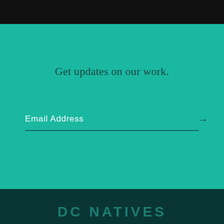Get updates on our work.
Email Address
DC NATIVES